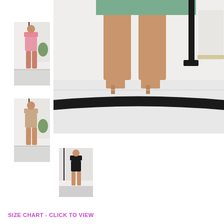[Figure (photo): Main large product photo showing lower body of model wearing sage green biker shorts with nude heels, standing in a white marble interior with black staircase railing and black accent furniture]
[Figure (photo): Thumbnail 1: Full body shot of model wearing pink crop top and pink biker shorts set, standing near white staircase with greenery]
[Figure (photo): Thumbnail 2: Full body shot of model wearing nude/tan crop top and nude biker shorts set, standing near white staircase]
[Figure (photo): Thumbnail 3: Full body shot of model wearing black crop top and black biker shorts set, standing indoors]
SIZE CHART - CLICK TO VIEW